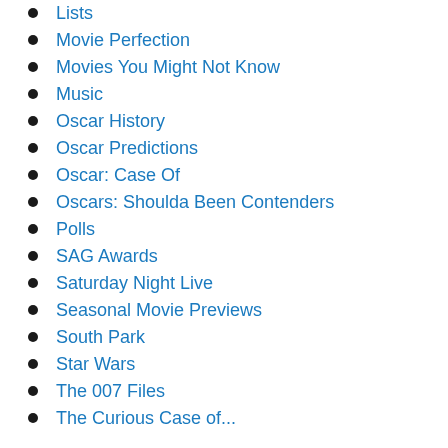Lists
Movie Perfection
Movies You Might Not Know
Music
Oscar History
Oscar Predictions
Oscar: Case Of
Oscars: Shoulda Been Contenders
Polls
SAG Awards
Saturday Night Live
Seasonal Movie Previews
South Park
Star Wars
The 007 Files
The Curious Case of...